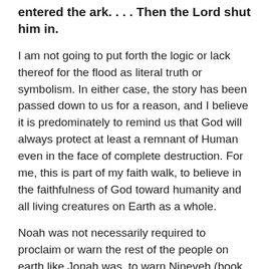entered the ark. . . . Then the Lord shut him in.
I am not going to put forth the logic or lack thereof for the flood as literal truth or symbolism. In either case, the story has been passed down to us for a reason, and I believe it is predominately to remind us that God will always protect at least a remnant of Human even in the face of complete destruction. For me, this is part of my faith walk, to believe in the faithfulness of God toward humanity and all living creatures on Earth as a whole.
Noah was not necessarily required to proclaim or warn the rest of the people on earth like Jonah was, to warn Nineveh (book of Jonah) of upcoming destruction. And yet, Noah was considered a righteous man who walked with God. He was known by the people, he had a reputation. And, undoubtedly, people noticed him building a very large